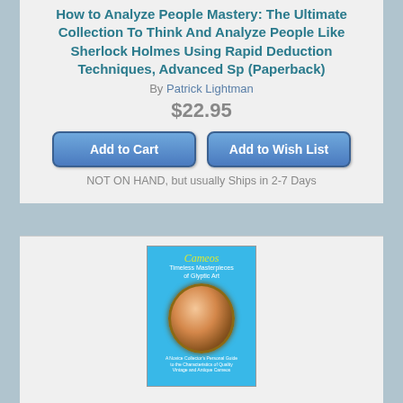How to Analyze People Mastery: The Ultimate Collection To Think And Analyze People Like Sherlock Holmes Using Rapid Deduction Techniques, Advanced Sp (Paperback)
By Patrick Lightman
$22.95
Add to Cart
Add to Wish List
NOT ON HAND, but usually Ships in 2-7 Days
[Figure (photo): Book cover of Cameos: Timeless Masterpieces of Glyptic Art showing a cameo brooch on a cyan/blue background]
Cameos: Timeless Masterpieces of Glyptic Art (Paperback)
By Jr. Comer, Arthur L.
$8.95